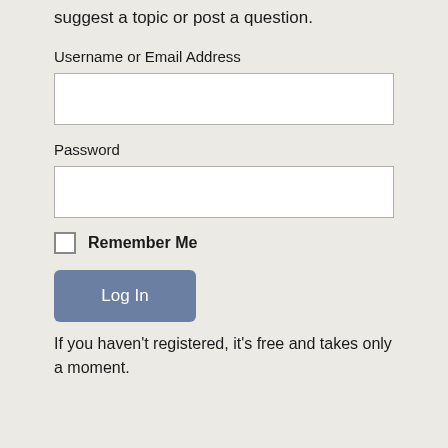suggest a topic or post a question.
Username or Email Address
Password
Remember Me
Log In
If you haven't registered, it's free and takes only a moment.